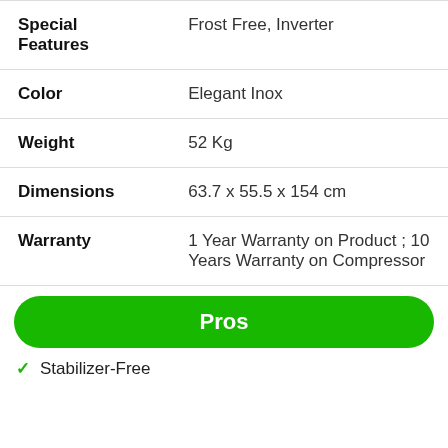| Feature | Value |
| --- | --- |
| Special Features | Frost Free, Inverter |
| Color | Elegant Inox |
| Weight | 52 Kg |
| Dimensions | 63.7 x 55.5 x 154 cm |
| Warranty | 1 Year Warranty on Product ; 10 Years Warranty on Compressor |
Pros
Stabilizer-Free